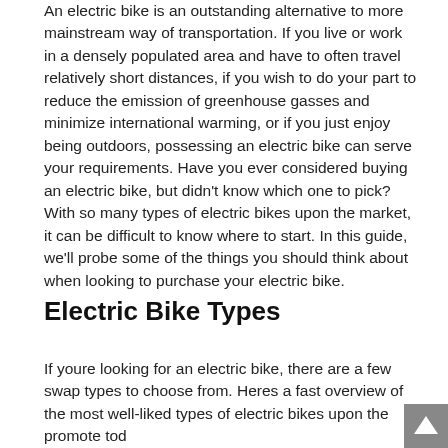An electric bike is an outstanding alternative to more mainstream way of transportation. If you live or work in a densely populated area and have to often travel relatively short distances, if you wish to do your part to reduce the emission of greenhouse gasses and minimize international warming, or if you just enjoy being outdoors, possessing an electric bike can serve your requirements. Have you ever considered buying an electric bike, but didn't know which one to pick? With so many types of electric bikes upon the market, it can be difficult to know where to start. In this guide, we'll probe some of the things you should think about when looking to purchase your electric bike.
Electric Bike Types
If youre looking for an electric bike, there are a few swap types to choose from. Heres a fast overview of the most well-liked types of electric bikes upon the promote tod...